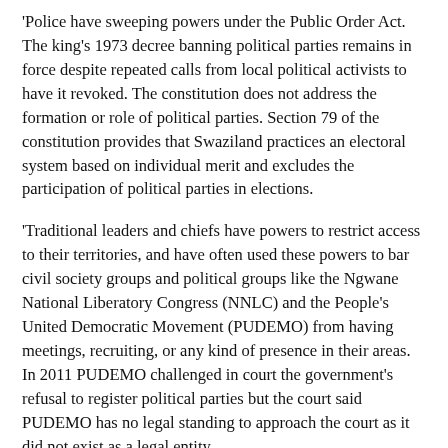'Police have sweeping powers under the Public Order Act. The king's 1973 decree banning political parties remains in force despite repeated calls from local political activists to have it revoked. The constitution does not address the formation or role of political parties. Section 79 of the constitution provides that Swaziland practices an electoral system based on individual merit and excludes the participation of political parties in elections.
'Traditional leaders and chiefs have powers to restrict access to their territories, and have often used these powers to bar civil society groups and political groups like the Ngwane National Liberatory Congress (NNLC) and the People's United Democratic Movement (PUDEMO) from having meetings, recruiting, or any kind of presence in their areas. In 2011 PUDEMO challenged in court the government's refusal to register political parties but the court said PUDEMO has no legal standing to approach the court as it did not exist as a legal entity.
'The Suppression of Terrorism Act (STA) places severe restrictions on civil society organizations, religious groups, and the media because it includes in the definition of “terrorist act” a wide range of legitimate conduct such as criticism of government,